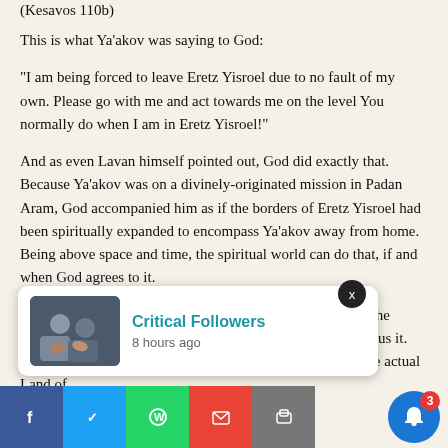(Kesavos 110b)
This is what Ya’akov was saying to God:
“I am being forced to leave Eretz Yisroel due to no fault of my own. Please go with me and act towards me on the level You normally do when I am in Eretz Yisroel!”
And as even Lavan himself pointed out, God did exactly that. Because Ya’akov was on a divinely-originated mission in Padan Aram, God accompanied him as if the borders of Eretz Yisroel had been spiritually expanded to encompass Ya’akov away from home. Being above space and time, the spiritual world can do that, if and when God agrees to it.
Clearly this had been the case at Mt. Sinai at the giving of the Torah. It was in the Diaspora, and yet Har Sinai had the status [of Eretz Yisroel while the Torah was given on] it. The desert [around it also had the elevated status, and as it] would. This is [very important because it prevents people from getting] the impress[ion that a Jew can serve God anywhere,] be[ing] [an]ywhere, rejecting the actual Land of
[Figure (photo): Notification popup showing 'Critical Followers' with thumbnail image of people and timestamp '8 hours ago']
[Figure (infographic): Social media share bar at bottom with Facebook, Twitter, WhatsApp, Email, and other icons, plus a blue bell notification button with red badge showing '3']